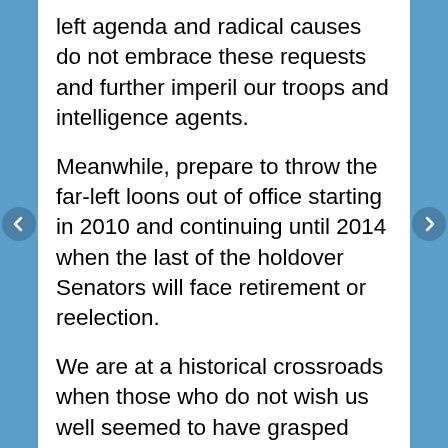left agenda and radical causes do not embrace these requests and further imperil our troops and intelligence agents.
Meanwhile, prepare to throw the far-left loons out of office starting in 2010 and continuing until 2014 when the last of the holdover Senators will face retirement or reelection.
We are at a historical crossroads when those who do not wish us well seemed to have grasped power by infiltrating our government institutions. We need to take action before they simply vote the American way of life out of existence and make a mockery of